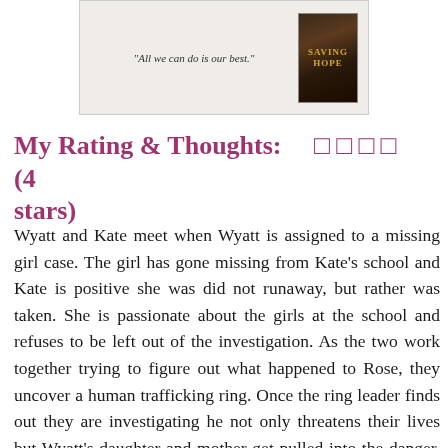[Figure (other): Book advertisement banner showing quote 'All we can do is our best.' and a book cover titled 'Saving Hope']
My Rating & Thoughts:    ☐ ☐ ☐ ☐    (4 stars)
Wyatt and Kate meet when Wyatt is assigned to a missing girl case. The girl has gone missing from Kate's school and Kate is positive she was did not runaway, but rather was taken. She is passionate about the girls at the school and refuses to be left out of the investigation. As the two work together trying to figure out what happened to Rose, they uncover a human trafficking ring. Once the ring leader finds out they are investigating he not only threatens their lives but Wyatt's daughter and mother get pulled into the danger. Can Wyatt protect those he loves while trying to bring down this ring?